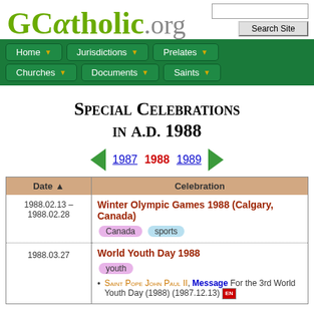GCatholic.org
Home | Jurisdictions | Prelates | Churches | Documents | Saints
Special Celebrations in A.D. 1988
1987  1988  1989
| Date ▲ | Celebration |
| --- | --- |
| 1988.02.13 – 1988.02.28 | Winter Olympic Games 1988 (Calgary, Canada)
Canada  sports |
| 1988.03.27 | World Youth Day 1988
youth
• Saint Pope John Paul II, Message For the 3rd World Youth Day (1988) (1987.12.13) [EN] |